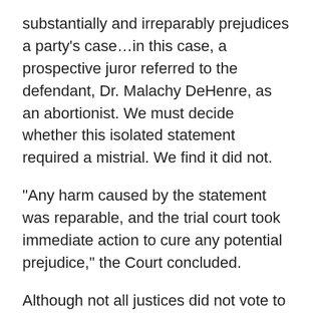substantially and irreparably prejudices a party's case…in this case, a prospective juror referred to the defendant, Dr. Malachy DeHenre, as an abortionist. We must decide whether this isolated statement required a mistrial. We find it did not.
“Any harm caused by the statement was reparable, and the trial court took immediate action to cure any potential prejudice,” the Court concluded.
Although not all justices did not vote to uphold the conviction, Parrish said he is simply delighted that the majority ruled in his favor.
“I feel a whole lot better now knowing that he will remain behind bars, hopefully for the entire 20 years,” said Parrish. “But if he doesn’t stay behind bars the whole time,